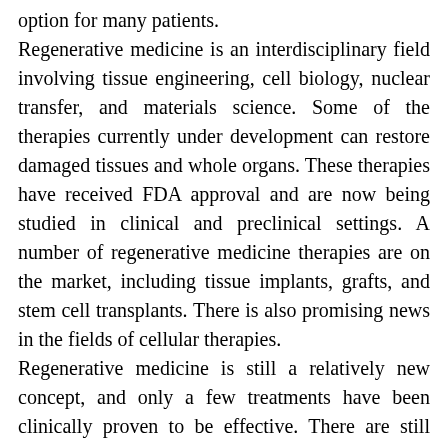option for many patients. Regenerative medicine is an interdisciplinary field involving tissue engineering, cell biology, nuclear transfer, and materials science. Some of the therapies currently under development can restore damaged tissues and whole organs. These therapies have received FDA approval and are now being studied in clinical and preclinical settings. A number of regenerative medicine therapies are on the market, including tissue implants, grafts, and stem cell transplants. There is also promising news in the fields of cellular therapies. Regenerative medicine is still a relatively new concept, and only a few treatments have been clinically proven to be effective. There are still some uncertainties surrounding regenerative medicine, but it's worth exploring. There are several methods of using platelet-rich plasma in the treatment of arthritis and musculoskeletal ailments. The best course of action will depend on the individual and his or her medical condition. It may be worth considering regenerative medicine if you suffer from joint pain or have other health problems that prevent you from doing physical therapy. The most common treatment involving regenerative medicine is